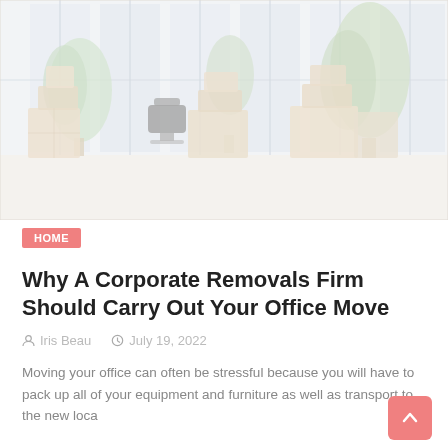[Figure (photo): Office space with cardboard moving boxes stacked on the floor, a black office chair, large windows, and green plants in the background. The image has a light, faded/washed-out tone.]
HOME
Why A Corporate Removals Firm Should Carry Out Your Office Move
Iris Beau   July 19, 2022
Moving your office can often be stressful because you will have to pack up all of your equipment and furniture as well as transport to the new loca